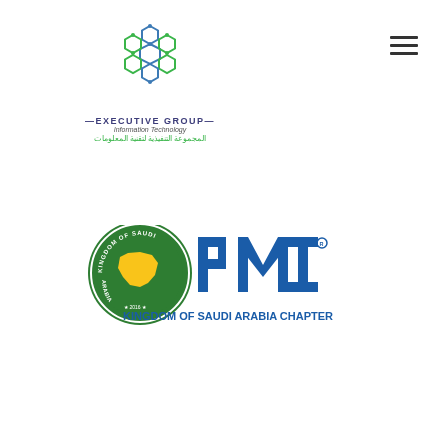[Figure (logo): Executive Group Information Technology logo — hexagonal network icon in blue/green tones, with text '—EXECUTIVE GROUP—', 'Information Technology', and Arabic text 'المجموعة التنفيذية لتقنية المعلومات' in green]
[Figure (logo): PMI Kingdom of Saudi Arabia Chapter logo — green circular badge with yellow Saudi Arabia map and text 'KINGDOM OF SAUDI ARABIA' and '2016', combined with bold blue 'PMI' letters, and blue text 'KINGDOM OF SAUDI ARABIA CHAPTER' below]